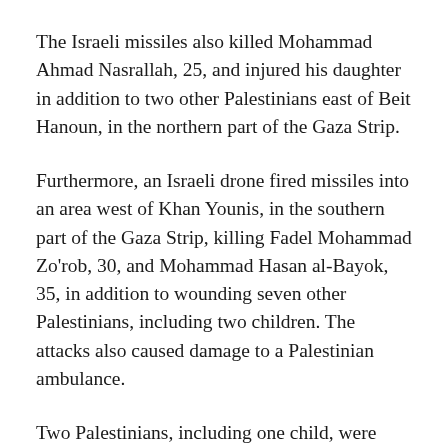The Israeli missiles also killed Mohammad Ahmad Nasrallah, 25, and injured his daughter in addition to two other Palestinians east of Beit Hanoun, in the northern part of the Gaza Strip.
Furthermore, an Israeli drone fired missiles into an area west of Khan Younis, in the southern part of the Gaza Strip, killing Fadel Mohammad Zo'rob, 30, and Mohammad Hasan al-Bayok, 35, in addition to wounding seven other Palestinians, including two children. The attacks also caused damage to a Palestinian ambulance.
Two Palestinians, including one child, were injured after the Israeli army bombed the al-Brazil neighborhood, south of Rafah, in the southern